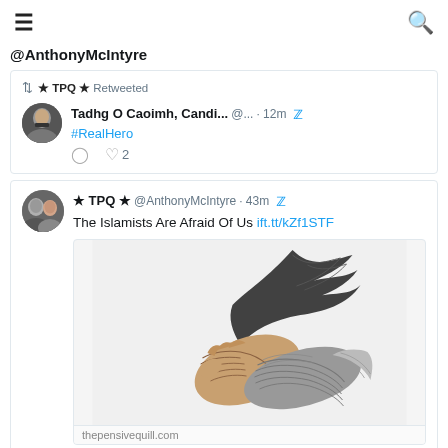≡  🔍
@AnthonyMcIntyre (cropped/cut off at top)
↺ ★ TPQ ★ Retweeted
Tadhg O Caoimh, Candi... @... · 12m
#RealHero
♡ 2
★ TPQ ★ @AnthonyMcIntyre · 43m
The Islamists Are Afraid Of Us ift.tt/kZf1STF
[Figure (illustration): Black and white engraving of a hand holding a quill pen, writing]
thepensivequill.com